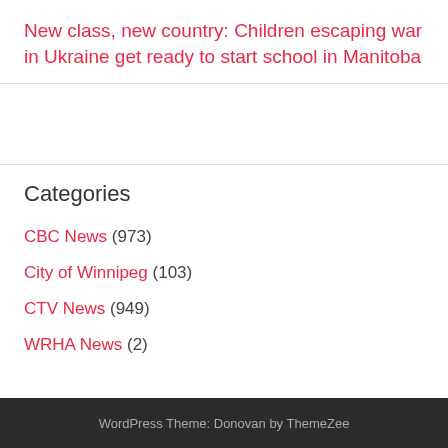New class, new country: Children escaping war in Ukraine get ready to start school in Manitoba
Categories
CBC News (973)
City of Winnipeg (103)
CTV News (949)
WRHA News (2)
WordPress Theme: Donovan by ThemeZee